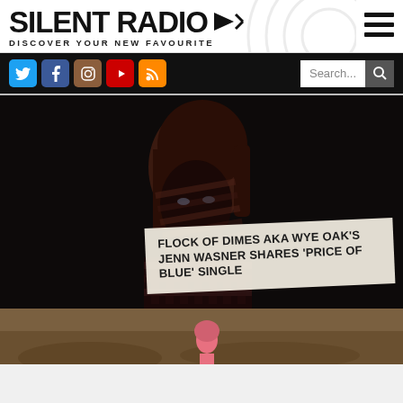SILENT RADIO
DISCOVER YOUR NEW FAVOURITE
[Figure (screenshot): Website navbar with social media icons (Twitter, Facebook, Instagram, YouTube, RSS) and a search bar on dark background]
[Figure (photo): Dark photo of a woman with red/brown hair, face partially obscured by shadow patterns, with a tilted white overlay card showing article headline]
FLOCK OF DIMES AKA WYE OAK'S JENN WASNER SHARES 'PRICE OF BLUE' SINGLE
[Figure (photo): Partial view of second article image with sepia/brown tones showing a figure]